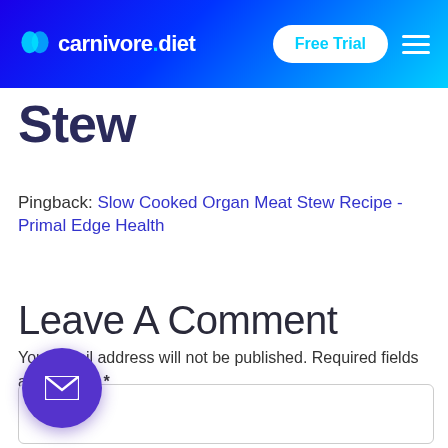carnivore.diet — Free Trial
Stew
Pingback: Slow Cooked Organ Meat Stew Recipe - Primal Edge Health
Leave A Comment
Your email address will not be published. Required fields are marked *
here..